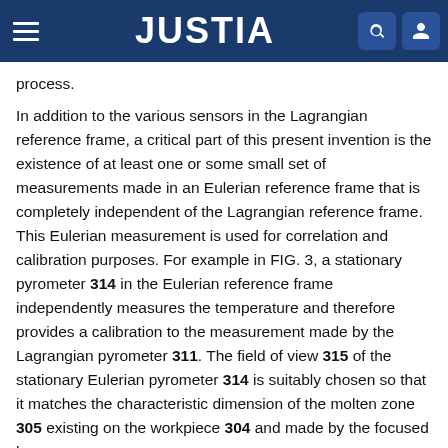JUSTIA
process.
In addition to the various sensors in the Lagrangian reference frame, a critical part of this present invention is the existence of at least one or some small set of measurements made in an Eulerian reference frame that is completely independent of the Lagrangian reference frame. This Eulerian measurement is used for correlation and calibration purposes. For example in FIG. 3, a stationary pyrometer 314 in the Eulerian reference frame independently measures the temperature and therefore provides a calibration to the measurement made by the Lagrangian pyrometer 311. The field of view 315 of the stationary Eulerian pyrometer 314 is suitably chosen so that it matches the characteristic dimension of the molten zone 305 existing on the workpiece 304 and made by the focused laser